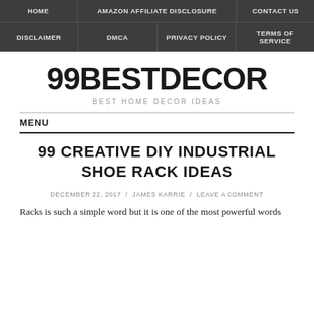HOME | AMAZON AFFILIATE DISCLOSURE | CONTACT US | DISCLAIMER | DMCA | PRIVACY POLICY | TERMS OF SERVICE
99BESTDECOR
BEST HOME DECOR IDEAS
MENU
99 CREATIVE DIY INDUSTRIAL SHOE RACK IDEAS
DECEMBER 22, 2017 / JAMES KARRIE / LEAVE A COMMENT
Racks is such a simple word but it is one of the most powerful words